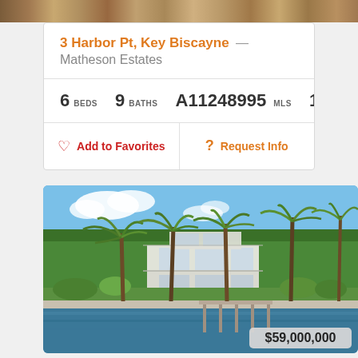[Figure (photo): Top portion of a luxury home exterior photo, wooden deck/ceiling visible]
3 Harbor Pt, Key Biscayne — Matheson Estates
6 BEDS   9 BATHS   A11248995 MLS   14,978 SQFT.
Add to Favorites   Request Info
[Figure (photo): Luxury modern waterfront estate at 3 Harbor Pt, Key Biscayne, with white multi-story modern architecture, palm trees, lush tropical landscaping, and a private dock on the water. Price: $59,000,000]